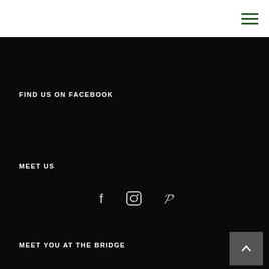[Hamburger menu icon]
FIND US ON FACEBOOK
MEET US
[Figure (infographic): Social media icons: Facebook (f), Instagram (camera), Pinterest (P)]
MEET YOU AT THE BRIDGE
Address: Somewhere on the globe
Email: info@meetyouatthebridge.nl